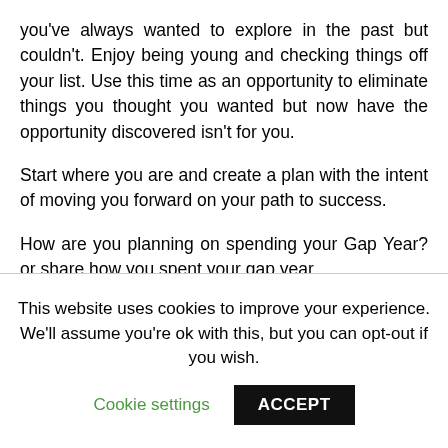you've always wanted to explore in the past but couldn't. Enjoy being young and checking things off your list. Use this time as an opportunity to eliminate things you thought you wanted but now have the opportunity discovered isn't for you.
Start where you are and create a plan with the intent of moving you forward on your path to success.
How are you planning on spending your Gap Year? or share how you spent your gap year.
thanks for exploring this topic with me
This website uses cookies to improve your experience. We'll assume you're ok with this, but you can opt-out if you wish.